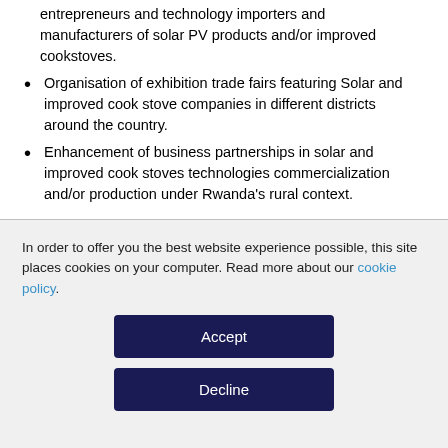entrepreneurs and technology importers and manufacturers of solar PV products and/or improved cookstoves.
Organisation of exhibition trade fairs featuring Solar and improved cook stove companies in different districts around the country.
Enhancement of business partnerships in solar and improved cook stoves technologies commercialization and/or production under Rwanda's rural context.
In order to offer you the best website experience possible, this site places cookies on your computer. Read more about our cookie policy.
Accept
Decline